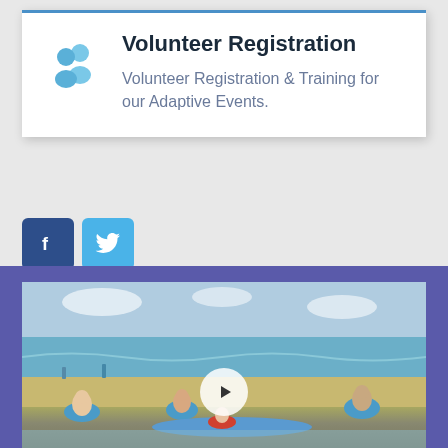Volunteer Registration
Volunteer Registration & Training for our Adaptive Events.
[Figure (infographic): Facebook and Twitter social media share buttons]
[Figure (photo): Video thumbnail showing volunteers in blue shirts helping someone on a surfboard at a beach, with a play button overlay]